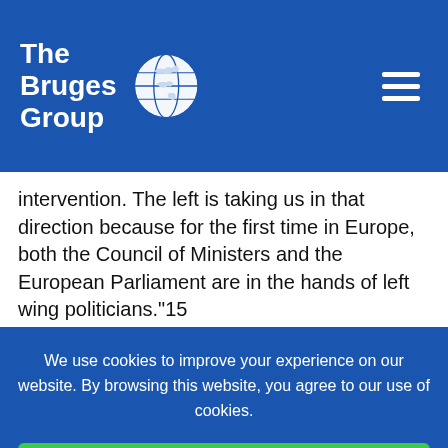[Figure (logo): The Bruges Group logo — white text on blue background with a globe illustration]
intervention. The left is taking us in that direction because for the first time in Europe, both the Council of Ministers and the European Parliament are in the hands of left wing politicians."15
Similarly he told his Budapest audience that "… I believe it is common sense to see the euro working in good times
We use cookies to improve your experience on our website. By browsing this website, you agree to our use of cookies.
Ok, I've understood!
Decline